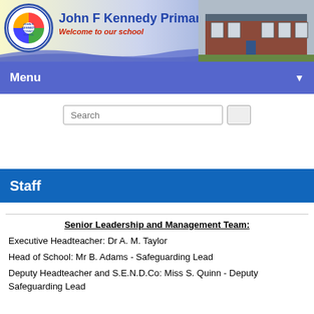[Figure (logo): John F Kennedy Primary School logo — circular badge with colourful design]
John F Kennedy Primary School
Welcome to our school
[Figure (photo): Photograph of the school building exterior, red brick]
Menu
Senior Leadership and Management Team:
Executive Headteacher: Dr A. M. Taylor
Head of School: Mr B. Adams - Safeguarding Lead
Deputy Headteacher and S.E.N.D.Co: Miss S. Quinn - Deputy Safeguarding Lead